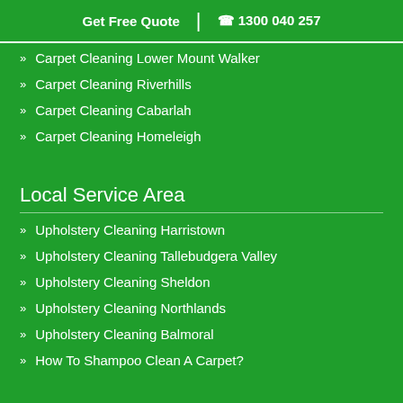Get Free Quote | 1300 040 257
Carpet Cleaning Lower Mount Walker
Carpet Cleaning Riverhills
Carpet Cleaning Cabarlah
Carpet Cleaning Homeleigh
Local Service Area
Upholstery Cleaning Harristown
Upholstery Cleaning Tallebudgera Valley
Upholstery Cleaning Sheldon
Upholstery Cleaning Northlands
Upholstery Cleaning Balmoral
How To Shampoo Clean A Carpet?